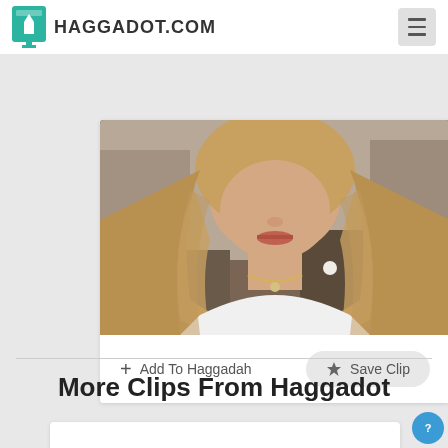HAGGADOT.COM
[Figure (photo): Screenshot of a video clip on Haggadot.com showing a woman with long blonde wavy hair wearing a white top, photographed from shoulders up in a room with artwork in background. Below the video are two action buttons: '+ Add To Haggadah' and '★ Save Clip'.]
More Clips From Haggadot